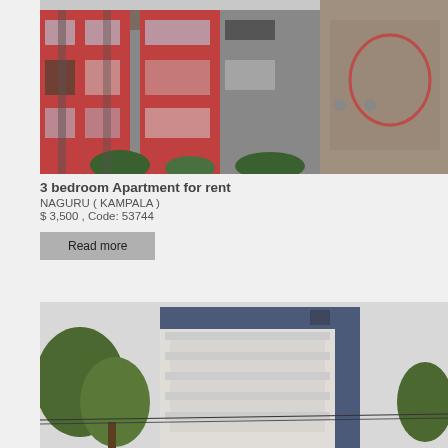[Figure (photo): Photo of a multi-story apartment building with red and grey facade, large windows, balconies, and tropical plants in front.]
3 bedroom Apartment  for rent
NAGURU  ( KAMPALA )
$ 3,500 , Code: 53744
Read more
[Figure (photo): Photo of a tall modern apartment block with blue and white facade, multiple balconies, and trees in the foreground.]